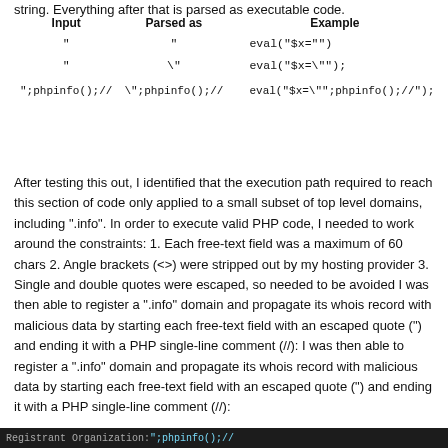string. Everything after that is parsed as executable code.
| Input | Parsed as | Example |
| --- | --- | --- |
| " | " | eval("$x="") |
| \" | \" | eval("$x=\"\"); |
| ";phpinfo();// | \";phpinfo();// | eval("$x=\";phpinfo();//"); |
After testing this out, I identified that the execution path required to reach this section of code only applied to a small subset of top level domains, including ".info". In order to execute valid PHP code, I needed to work around the constraints: 1. Each free-text field was a maximum of 60 chars 2. Angle brackets (<>) were stripped out by my hosting provider 3. Single and double quotes were escaped, so needed to be avoided I was then able to register a ".info" domain and propagate its whois record with malicious data by starting each free-text field with an escaped quote (") and ending it with a PHP single-line comment (//): I was then able to register a ".info" domain and propagate its whois record with malicious data by starting each free-text field with an escaped quote (") and ending it with a PHP single-line comment (//):
[Figure (screenshot): Dark terminal/code bar at the bottom showing registrant organization with highlighted code: Registrant Organization: ";phpinfo();//]